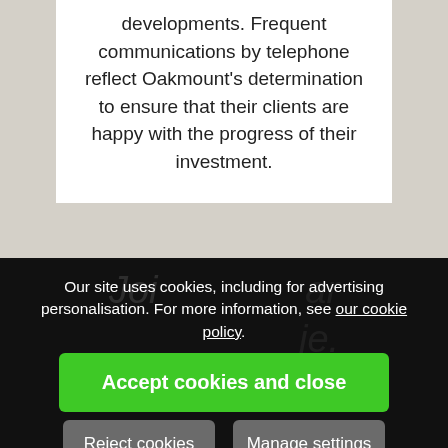developments. Frequent communications by telephone reflect Oakmount's determination to ensure that their clients are happy with the progress of their investment.
Our site uses cookies, including for advertising personalisation. For more information, see our cookie policy.
Accept cookies and close
Reject cookies
Manage settings